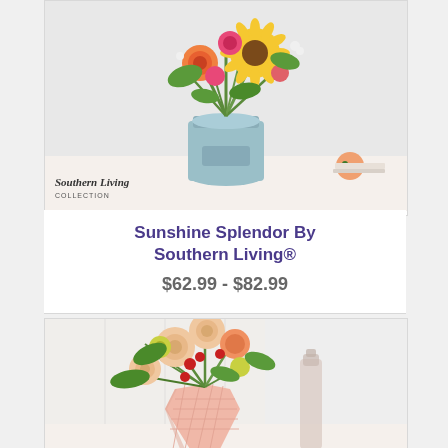[Figure (photo): Floral arrangement with sunflowers, orange roses, pink flowers in a light blue vintage jar/vase. Southern Living Collection logo visible in bottom left corner of image.]
Sunshine Splendor By Southern Living®
$62.99 - $82.99
[Figure (photo): Floral arrangement with peach/cream roses, orange carnations, yellow alstroemeria, red berries, and greenery in a pink faceted vase. Tall glass bottle visible in background.]